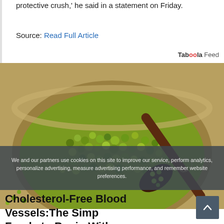protective crush,' he said in a statement on Friday.
Source: Read Full Article
Taboola Feed
[Figure (photo): A wooden bowl filled with green mung beans with a dark wooden spoon resting inside the bowl]
We and our partners use cookies on this site to improve our service, perform analytics, personalize advertising, measure advertising performance, and remember website preferences.
Cholesterol-Free Blood Vessels: The Simple Foods to Begin With